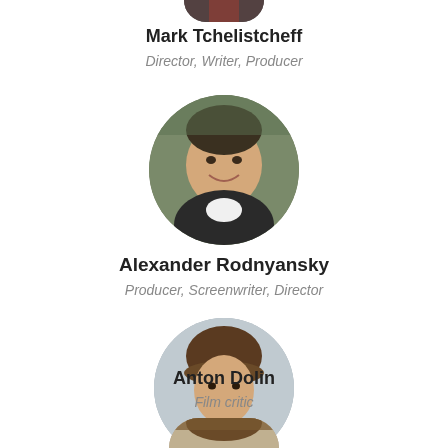[Figure (photo): Circular cropped portrait photo of Mark Tchelistcheff, partially visible at top]
Mark Tchelistcheff
Director, Writer, Producer
[Figure (photo): Circular cropped portrait photo of Alexander Rodnyansky, smiling man in dark jacket]
Alexander Rodnyansky
Producer, Screenwriter, Director
[Figure (photo): Circular cropped portrait photo of Anton Dolin, young man with brown hair in dark turtleneck]
Anton Dolin
Film critic
[Figure (photo): Circular cropped portrait photo partially visible at bottom of page]